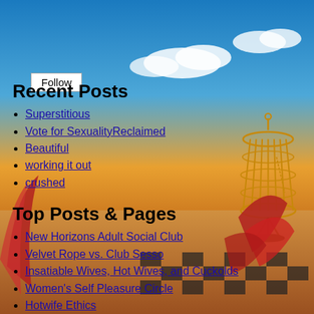[Figure (illustration): Surrealist painting background showing a birdcage with a broken door, red butterflies, blue sky with clouds, and a checkerboard floor with warm orange/amber gradient at bottom.]
Follow
Recent Posts
Superstitious
Vote for SexualityReclaimed
Beautiful
working it out
crushed
Top Posts & Pages
New Horizons Adult Social Club
Velvet Rope vs. Club Sesso
Insatiable Wives, Hot Wives, and Cuckolds
Women's Self Pleasure Circle
Hotwife Ethics
Bare MFM
Life is Short
Swingers Club Intersectionalism: A Couple Privilege and DNP
Sex Club Etiquette